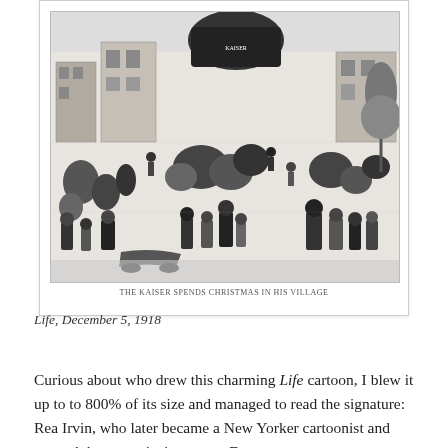[Figure (illustration): A dense black-and-white cartoon illustration showing a busy Christmas scene in a village or city street, with many figures, buildings, vehicles, and trees visible from an elevated perspective. Small caption text below reads 'THE KAISER SPENDS CHRISTMAS IN HIS VILLAGE'.]
Life, December 5, 1918
Curious about who drew this charming Life cartoon, I blew it up to to 800% of its size and managed to read the signature: Rea Irvin, who later became a New Yorker cartoonist and created the magazine's mascot, Eustace